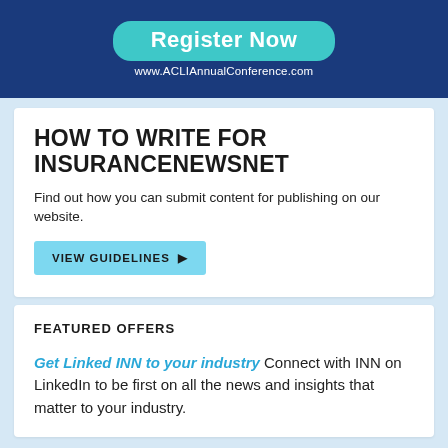[Figure (illustration): Dark blue banner advertisement with teal rounded button reading 'Register Now' and URL 'www.ACLIAnnualConference.com' in white text]
HOW TO WRITE FOR INSURANCENEWSNET
Find out how you can submit content for publishing on our website.
VIEW GUIDELINES ▶
FEATURED OFFERS
Get Linked INN to your industry Connect with INN on LinkedIn to be first on all the news and insights that matter to your industry.